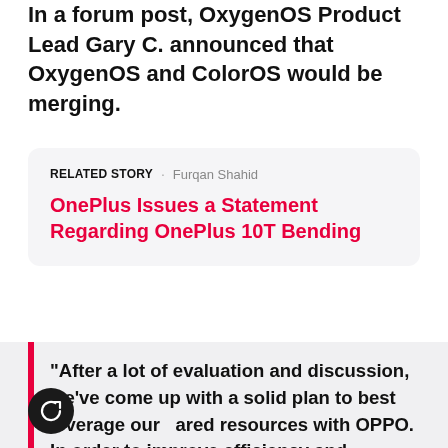In a forum post, OxygenOS Product Lead Gary C. announced that OxygenOS and ColorOS would be merging.
RELATED STORY · Furqan Shahid
OnePlus Issues a Statement Regarding OnePlus 10T Bending
[Figure (other): Loading spinner icon (circular arrow) shown in light gray]
“After a lot of evaluation and discussion, we’ve come up with a solid plan to best leverage our shared resources with OPPO. In order to improve efficiency and standardize the software experience across our portfolio, we’re working on integrating the codebase of OxygenOS and